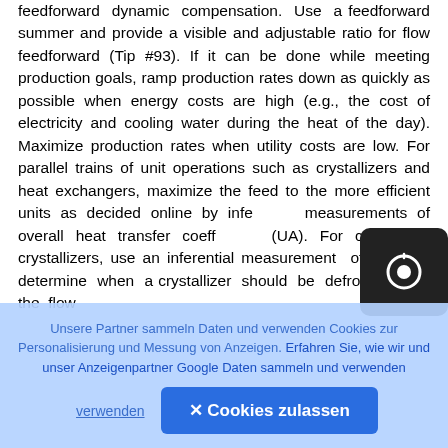feedforward dynamic compensation. Use a feedforward summer and provide a visible and adjustable ratio for flow feedforward (Tip #93). If it can be done while meeting production goals, ramp production rates down as quickly as possible when energy costs are high (e.g., the cost of electricity and cooling water during the heat of the day). Maximize production rates when utility costs are low. For parallel trains of unit operations such as crystallizers and heat exchangers, maximize the feed to the more efficient units as decided online by inferential measurements of overall heat transfer coefficients (UA). For continuous crystallizers, use an inferential measurement of UA to determine when a crystallizer should be defrosted and the flow
[Figure (other): Camera/record button UI element — dark rounded square with a circular icon]
Unsere Partner sammeln Daten und verwenden Cookies zur Personalisierung und Messung von Anzeigen. Erfahren Sie, wie wir und unser Anzeigenpartner Google Daten sammeln und verwenden